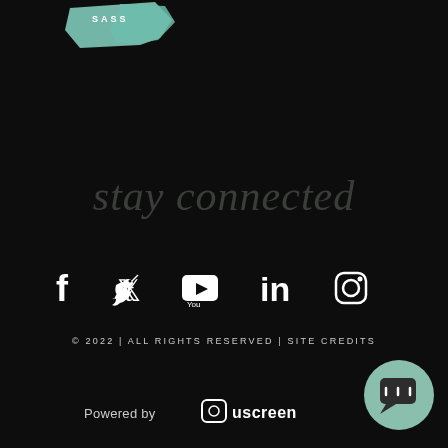[Figure (logo): Teal/mint colored logo or brand mark in the upper left portion of a black background page]
stay connected
[Figure (infographic): Row of five white social media icons: Facebook, Twitter, YouTube, LinkedIn, Instagram]
© 2022 | ALL RIGHTS RESERVED | SITE CREDITS
[Figure (logo): Powered by uscreen logo]
[Figure (illustration): Mint/teal circular chat bubble button in bottom right corner]